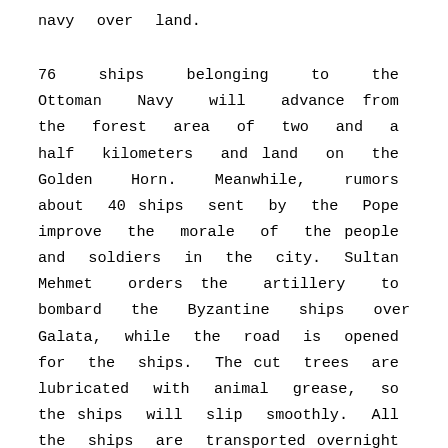navy over land.
76 ships belonging to the Ottoman Navy will advance from the forest area of two and a half kilometers and land on the Golden Horn. Meanwhile, rumors about 40 ships sent by the Pope improve the morale of the people and soldiers in the city. Sultan Mehmet orders the artillery to bombard the Byzantine ships over Galata, while the road is opened for the ships. The cut trees are lubricated with animal grease, so the ships will slip smoothly. All the ships are transported overnight and on the morning of 22 April, all the Byzantine people see Turkish ships in the Golden Horn. This situation forces the Byzantine defense strategy to change. The guns, which are lowered to the port of Galata, start to shoot the city from a new front. Giustiniani wants to raid the Ottoman ships and